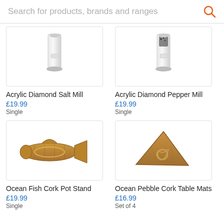Search for products, brands and ranges
[Figure (photo): Acrylic Diamond Salt Mill - clear acrylic grinder, top half visible]
Acrylic Diamond Salt Mill
£19.99
Single
[Figure (photo): Acrylic Diamond Pepper Mill - clear acrylic grinder with black pepper, top half visible]
Acrylic Diamond Pepper Mill
£19.99
Single
[Figure (photo): Ocean Fish Cork Pot Stand - cork board shaped like fish, natural tan color with gold band]
Ocean Fish Cork Pot Stand
£19.99
Single
[Figure (photo): Ocean Pebble Cork Table Mats - triangular cork mat with rope detail]
Ocean Pebble Cork Table Mats
£16.99
Set of 4